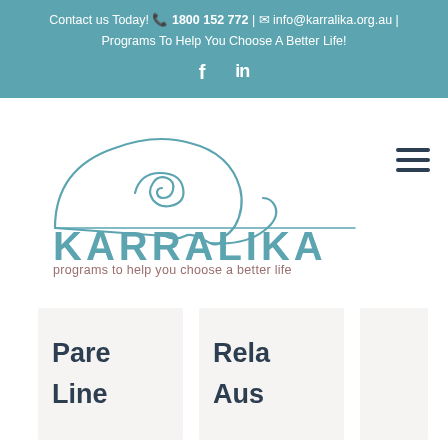Contact us Today! 📞 1800 152 772 | ✉ info@karralika.org.au | Programs To Help You Choose A Better Life!
[Figure (logo): Karralika logo: a line drawing of a human head profile with an abstract brain/mind swirl inside, drawn in teal/blue color, with the text KARRALIKA in large teal letters and tagline 'programs to help you choose a better life' in brownish-grey]
Pare Line
Rela Aus